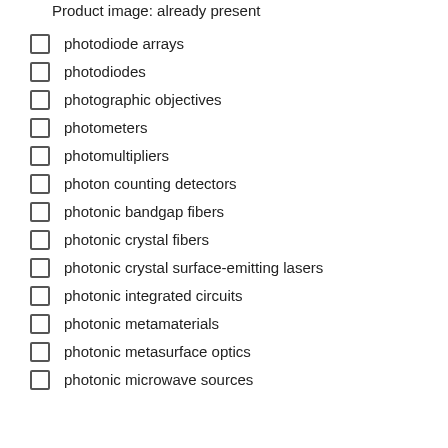Product image: already present
photodiode arrays
photodiodes
photographic objectives
photometers
photomultipliers
photon counting detectors
photonic bandgap fibers
photonic crystal fibers
photonic crystal surface-emitting lasers
photonic integrated circuits
photonic metamaterials
photonic metasurface optics
photonic microwave sources